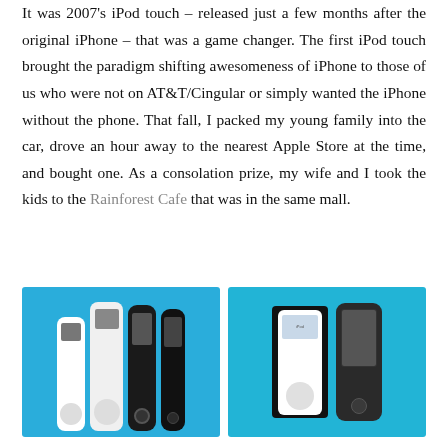It was 2007's iPod touch – released just a few months after the original iPhone – that was a game changer. The first iPod touch brought the paradigm shifting awesomeness of iPhone to those of us who were not on AT&T/Cingular or simply wanted the iPhone without the phone. That fall, I packed my young family into the car, drove an hour away to the nearest Apple Store at the time, and bought one. As a consolation prize, my wife and I took the kids to the Rainforest Cafe that was in the same mall.
[Figure (photo): Left photo: Four iPod/iPod touch devices lined up on a blue background — two white older iPod classics and two black iPod touches. Right photo: An iPod classic and an iPhone/iPod touch displayed against a dark background with a blue border.]
The iPod touch and a 2006 while MacBook running an Intel Core 2 Duo CPU were the two devices that switched me